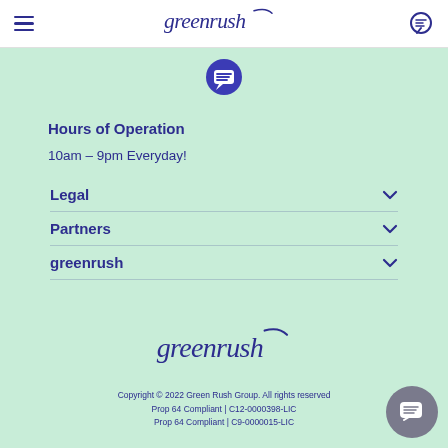greenrush — navigation header
[Figure (logo): Greenrush logo with stylized italic text and decorative script swash, dark blue/purple color]
[Figure (illustration): Dark blue circular chat bubble icon]
Hours of Operation
10am – 9pm Everyday!
Legal
Partners
greenrush
[Figure (logo): Greenrush footer logo, larger italic script text with decorative swash, dark blue color]
Copyright © 2022 Green Rush Group. All rights reserved
Prop 64 Compliant | C12-0000398-LIC
Prop 64 Compliant | C9-0000015-LIC